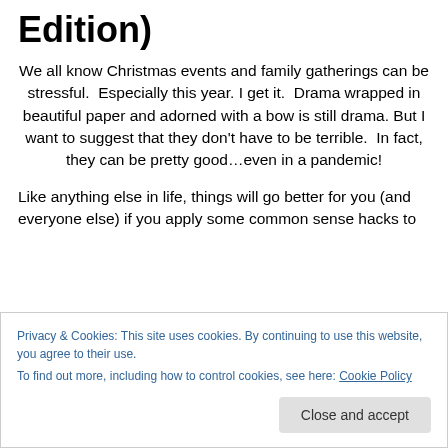Edition)
We all know Christmas events and family gatherings can be stressful.  Especially this year. I get it.  Drama wrapped in beautiful paper and adorned with a bow is still drama. But I want to suggest that they don't have to be terrible.  In fact, they can be pretty good…even in a pandemic!
Like anything else in life, things will go better for you (and everyone else) if you apply some common sense hacks to
Privacy & Cookies: This site uses cookies. By continuing to use this website, you agree to their use.
To find out more, including how to control cookies, see here: Cookie Policy
Close and accept